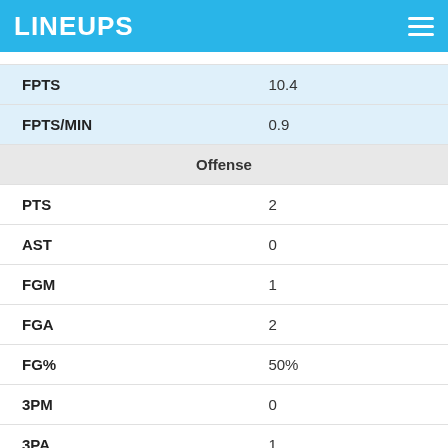LINEUPS
| Stat | Value |
| --- | --- |
| FPTS | 10.4 |
| FPTS/MIN | 0.9 |
| Offense |  |
| PTS | 2 |
| AST | 0 |
| FGM | 1 |
| FGA | 2 |
| FG% | 50% |
| 3PM | 0 |
| 3PA | 1 |
| 3P% | 0% |
| FTM | 0 |